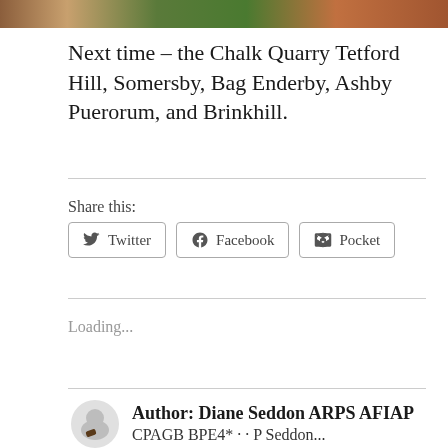[Figure (photo): Partial photo strip at the top of the page showing outdoor/nature scene in warm and green tones]
Next time – the Chalk Quarry Tetford Hill, Somersby, Bag Enderby, Ashby Puerorum, and Brinkhill.
Share this:
Twitter
Facebook
Pocket
Loading...
Author: Diane Seddon ARPS AFIAP
CPAGB BPE4* · · P Seddon...